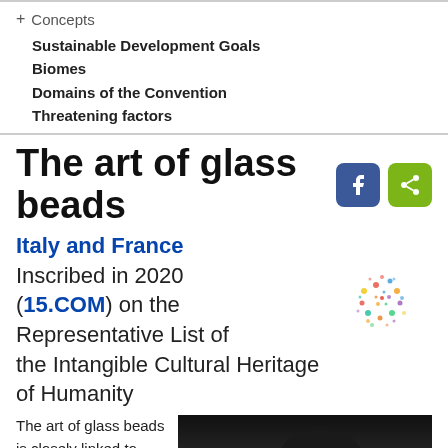+ Concepts
Sustainable Development Goals
Biomes
Domains of the Convention
Threatening factors
The art of glass beads
Italy and France
Inscribed in 2020 (15.COM) on the Representative List of the Intangible Cultural Heritage of Humanity
[Figure (illustration): Colorful decorative glass beads arrangement forming a floral/circular pattern]
The art of glass beads is closely linked to
[Figure (photo): Person with dark hair looking down, photo with dark background]